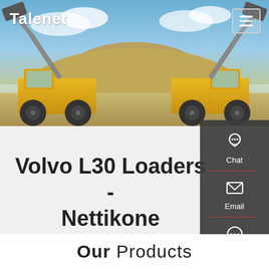[Figure (photo): Hero image of Volvo L30 wheel loaders facing each other with raised buckets, parked on a sandy/rocky construction site with blue sky and clouds in background]
Talenet
Volvo L30 Loaders - Nettikone
Our Products